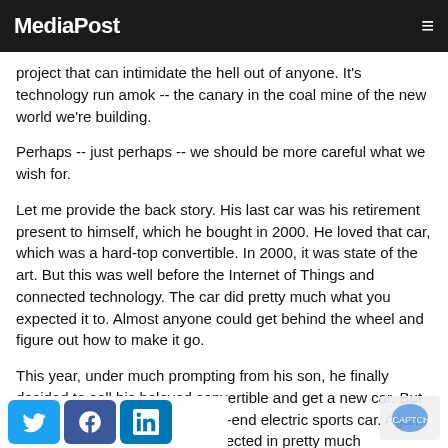MediaPost
project that can intimidate the hell out of anyone. It's technology run amok -- the canary in the coal mine of the new world we're building.
Perhaps -- just perhaps -- we should be more careful what we wish for.
Let me provide the back story. His last car was his retirement present to himself, which he bought in 2000. He loved that car, which was a hard-top convertible. In 2000, it was state of the art. But this was well before the Internet of Things and connected technology. The car did pretty much what you expected it to. Almost anyone could get behind the wheel and figure out how to make it go.
This year, under much prompting from his son, he finally decided to sell his beloved convertible and get a new car. But this isn't just any car. It is a high-end electric sports car. Again, it's top of the line. And it is connected in pretty much everything you could imagine, and in many ways that would